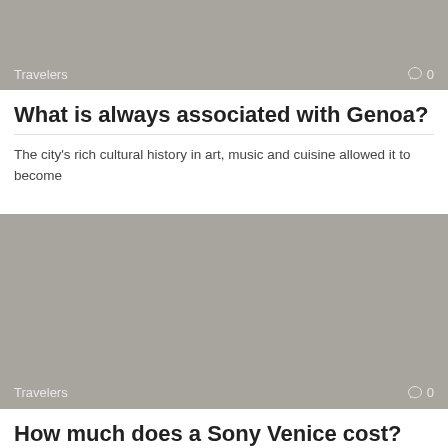[Figure (photo): Gray placeholder image with 'Travelers' label and comment icon showing 0]
What is always associated with Genoa?
The city's rich cultural history in art, music and cuisine allowed it to become
[Figure (photo): Larger gray placeholder image with 'Travelers' label and comment icon showing 0]
How much does a Sony Venice cost?
The Sony VENICE CineAlta digital motion picture camera system is scheduled to be available